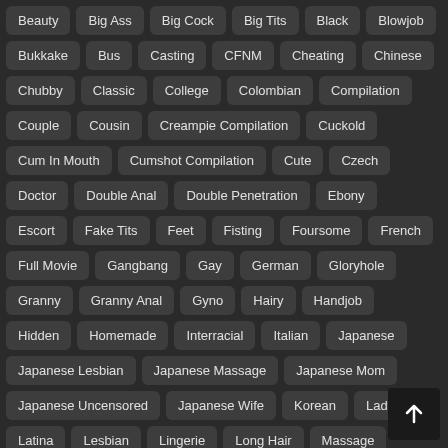Beauty
Big Ass
Big Cock
Big Tits
Black
Blowjob
Bukkake
Bus
Casting
CFNM
Cheating
Chinese
Chubby
Classic
College
Colombian
Compilation
Couple
Cousin
Creampie Compilation
Cuckold
Cum In Mouth
Cumshot Compilation
Cute
Czech
Doctor
Double Anal
Double Penetration
Ebony
Escort
Fake Tits
Feet
Fisting
Foursome
French
Full Movie
Gangbang
Gay
German
Gloryhole
Granny
Granny Anal
Gyno
Hairy
Handjob
Hidden
Homemade
Interracial
Italian
Japanese
Japanese Lesbian
Japanese Massage
Japanese Mom
Japanese Uncensored
Japanese Wife
Korean
Ladyboy
Latina
Lesbian
Lingerie
Long Hair
Massage
Mature
Mature Anal
MILF
Mom
Office
Old Man
Orgasm Compilation
Orgy
Outdoor
Parody
PAWG
Pegging
Plumber
POV
Pregnant